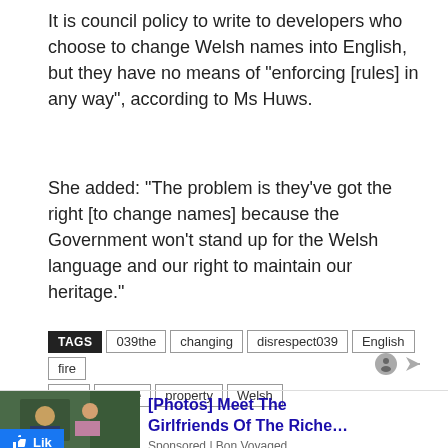It is council policy to write to developers who choose to change Welsh names into English, but they have no means of “enforcing [rules] in any way”, according to Ms Huws.
She added: “The problem is they’ve got the right [to change names] because the Government won’t stand up for the Welsh language and our right to maintain our heritage.”
TAGS: 039the, changing, disrespect039, English, fire, firm, House, property, Welsh
[Figure (other): Advertisement: [Photos] Meet The Girlfriends Of The Riche… Sponsored | Bon Voyaged, with a photo of a man and woman in sunglasses]